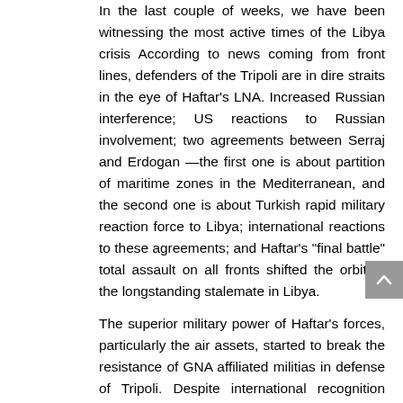In the last couple of weeks, we have been witnessing the most active times of the Libya crisis According to news coming from front lines, defenders of the Tripoli are in dire straits in the eye of Haftar's LNA. Increased Russian interference; US reactions to Russian involvement; two agreements between Serraj and Erdogan —the first one is about partition of maritime zones in the Mediterranean, and the second one is about Turkish rapid military reaction force to Libya; international reactions to these agreements; and Haftar's "final battle" total assault on all fronts shifted the orbit of the longstanding stalemate in Libya.
The superior military power of Haftar's forces, particularly the air assets, started to break the resistance of GNA affiliated militias in defense of Tripoli. Despite international recognition having